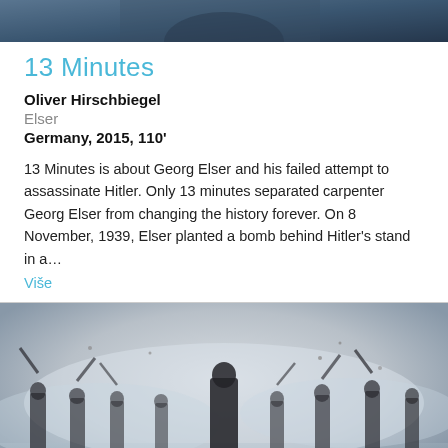[Figure (photo): Top cropped film still showing a person in dark jacket, blue-grey tones]
13 Minutes
Oliver Hirschbiegel
Elser
Germany, 2015, 110'
13 Minutes is about Georg Elser and his failed attempt to assassinate Hitler. Only 13 minutes separated carpenter Georg Elser from changing the history forever. On 8 November, 1939, Elser planted a bomb behind Hitler's stand in a...
Više
[Figure (photo): Film still showing a lone figure standing amid a misty battle scene with soldiers wielding swords in fog]